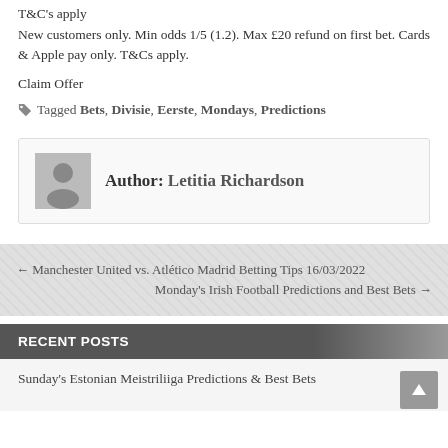T&C's apply
New customers only. Min odds 1/5 (1.2). Max £20 refund on first bet. Cards & Apple pay only. T&Cs apply.
Claim Offer
Tagged Bets, Divisie, Eerste, Mondays, Predictions
Author: Letitia Richardson
← Manchester United vs. Atlético Madrid Betting Tips 16/03/2022
Monday's Irish Football Predictions and Best Bets →
RECENT POSTS
Sunday's Estonian Meistriliiga Predictions & Best Bets